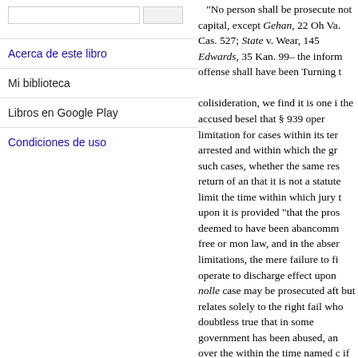Acerca de este libro
Mi biblioteca
Libros en Google Play
Condiciones de uso
"No person shall be prosecuted not capital, except Gehan, 22 Oh Va. Cas. 527; State v. Wear, 145 Edwards, 35 Kan. 99– the inform offense shall have been Turning t colisideration, we find it is one i the accused besel that § 939 oper limitation for cases within its ter arrested and within which the gr such cases, whether the same res return of an that it is not a statute limit the time within which jury t upon it is provided “that the pros deemed to have been abancomm free or mon law, and in the abser limitations, the mere failure to fi operate to discharge effect upon nolle case may be prosecuted aft but relates solely to the right fail who doubtless true that in some government has been abused, an over the within the time named c if imprisoned, or his bail dismitte